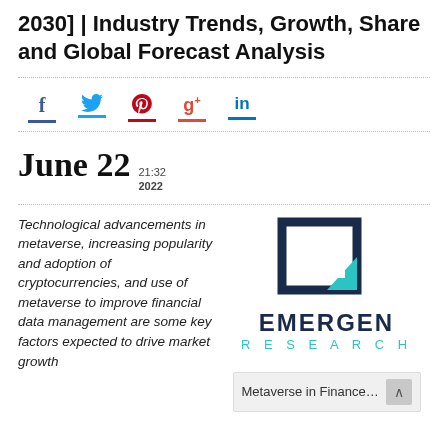2030] | Industry Trends, Growth, Share and Global Forecast Analysis
[Figure (infographic): Social media share icons: Facebook (f, blue), Twitter (bird, blue), Pinterest (p, red), Google+ (g+, red), LinkedIn (in, blue), each with colored underline bar]
June 22  21:32  2022
Technological advancements in metaverse, increasing popularity and adoption of cryptocurrencies, and use of metaverse to improve financial data management are some key factors expected to drive market growth
[Figure (logo): Emergen Research logo: dark navy square bracket icon with teal accent, EMERGEN in bold dark navy, RESEARCH in teal spaced letters below]
Metaverse in Finance Mar...